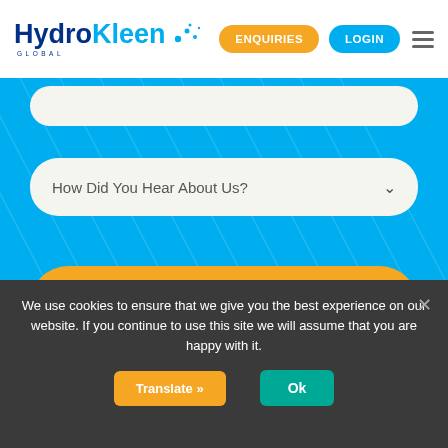[Figure (logo): HydroKleen Global logo with blue and dark blue text and dot graphic]
ENQUIRIES
LOGIN
How Did You Hear About Us?
SUBMIT
We use cookies to ensure that we give you the best experience on our website. If you continue to use this site we will assume that you are happy with it.
Translate »
Ok